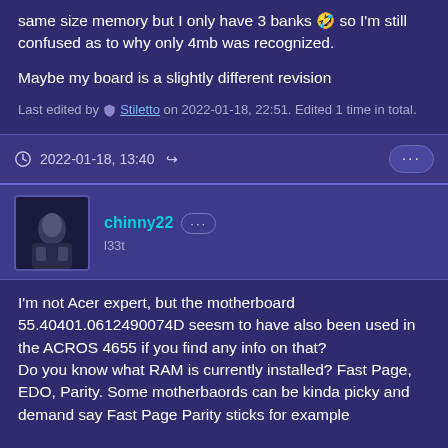same size memory but I only have 3 banks 🤣 so I'm still confused as to why only 4mb was recognized.
Maybe my board is a slightly different revision
Last edited by Stiletto on 2022-01-18, 22:51. Edited 1 time in total.
2022-01-18, 13:40
chinny22
l33t
I'm not Acer expert, but the motherboard 55.40401.0612490074D seesm to have also been used in the ACROS 4655 if you find any info on that?
Do you know what RAM is currently installed? Fast Page, EDO, Parity. Some motherbaords can be kinda picky and demand say Fast Page Parity sticks for example